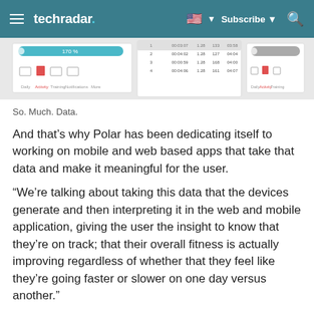techradar — Subscribe
[Figure (screenshot): Screenshot of a fitness app/web interface showing workout data table with columns for time, distance, pace and other metrics, with teal progress bars and icon navigation.]
So. Much. Data.
And that’s why Polar has been dedicating itself to working on mobile and web based apps that take that data and make it meaningful for the user.
“We’re talking about taking this data that the devices generate and then interpreting it in the web and mobile application, giving the user the insight to know that they’re on track; that their overall fitness is actually improving regardless of whether that they feel like they’re going faster or slower on one day versus another.”